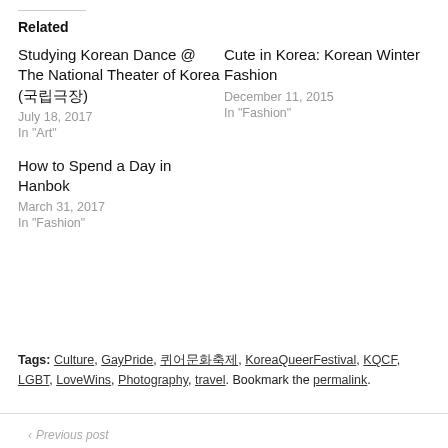Related
Studying Korean Dance @ The National Theater of Korea (국립극장)
July 18, 2017
In "Art"
Cute in Korea: Korean Winter Fashion
December 11, 2015
In "Fashion"
How to Spend a Day in Hanbok
March 31, 2017
In "Fashion"
Tags: Culture, GayPride, 퀴어문화축제, KoreaQueerFestival, KQCF, LGBT, LoveWins, Photography, travel. Bookmark the permalink.
Previous post